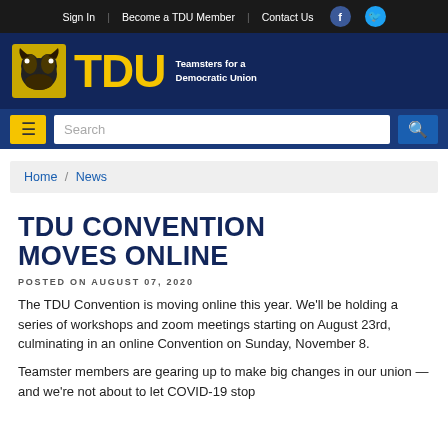Sign In  |  Become a TDU Member  |  Contact Us
[Figure (logo): TDU (Teamsters for a Democratic Union) logo with horse mascot on dark blue background]
Search
Home / News
TDU CONVENTION MOVES ONLINE
POSTED ON AUGUST 07, 2020
The TDU Convention is moving online this year. We'll be holding a series of workshops and zoom meetings starting on August 23rd, culminating in an online Convention on Sunday, November 8.
Teamster members are gearing up to make big changes in our union — and we're not about to let COVID-19 stop